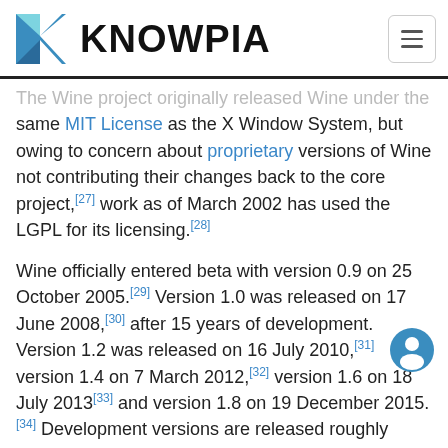KNOWPIA
The Wine project originally released Wine under the same MIT License as the X Window System, but owing to concern about proprietary versions of Wine not contributing their changes back to the core project,[27] work as of March 2002 has used the LGPL for its licensing.[28]
Wine officially entered beta with version 0.9 on 25 October 2005.[29] Version 1.0 was released on 17 June 2008,[30] after 15 years of development. Version 1.2 was released on 16 July 2010,[31] version 1.4 on 7 March 2012,[32] version 1.6 on 18 July 2013[33] and version 1.8 on 19 December 2015.[34] Development versions are released roughly every two weeks.
Wine-staging is an independently maintained set of aggressive patches not deemed ready by WineHQ